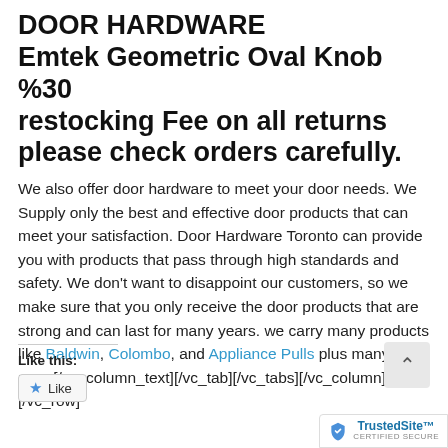DOOR HARDWARE Emtek Geometric Oval Knob %30 restocking Fee on all returns please check orders carefully.
We also offer door hardware to meet your door needs. We Supply only the best and effective door products that can meet your satisfaction. Door Hardware Toronto can provide you with products that pass through high standards and safety. We don't want to disappoint our customers, so we make sure that you only receive the door products that are strong and can last for many years. we carry many products like Baldwin, Colombo, and Appliance Pulls plus many more[/vc_column_text][/vc_tab][/vc_tabs][/vc_column][/vc_row]
Like this:
Like